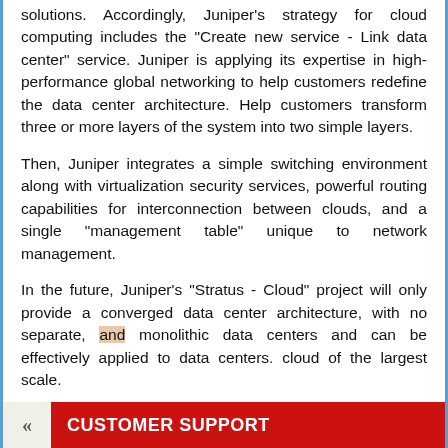solutions. Accordingly, Juniper's strategy for cloud computing includes the "Create new service - Link data center" service. Juniper is applying its expertise in high-performance global networking to help customers redefine the data center architecture. Help customers transform three or more layers of the system into two simple layers.
Then, Juniper integrates a simple switching environment along with virtualization security services, powerful routing capabilities for interconnection between clouds, and a single "management table" unique to network management.
In the future, Juniper's "Stratus - Cloud" project will only provide a converged data center architecture, with no separate, and monolithic data centers and can be effectively applied to data centers. cloud of the largest scale.
Service Deployment - Enhance the global network:
A ready-made network infrastructure, cloud computing. Flexible
CUSTOMER SUPPORT